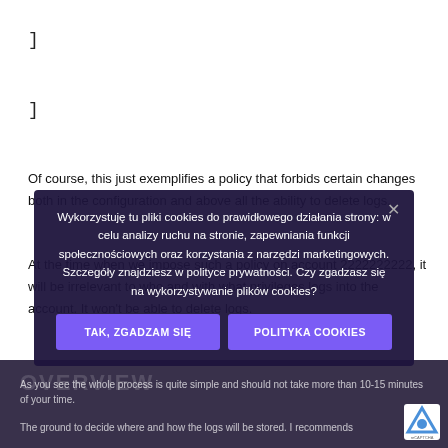]
]
Of course, this just exemplifies a policy that forbids certain changes both in the configuration and above all the ability to delete logs.
At the time when we impose such a policy on account 2222222222, it will be irrelevant to who and with what privileges logs into the account. It won't be able to delete logs.
OVERVIEW
As you see the whole process is quite simple and should not take more than 10-15 minutes of your time.
The ground to decide where and how the logs will be stored. I recommends
Wykorzystuję tu pliki cookies do prawidłowego działania strony: w celu analizy ruchu na stronie, zapewniania funkcji społecznościowych oraz korzystania z narzędzi marketingowych. Szczegóły znajdziesz w polityce prywatności. Czy zgadzasz się na wykorzystywanie plików cookies?
TAK, ZGADZAM SIĘ
POLITYKA COOKIES